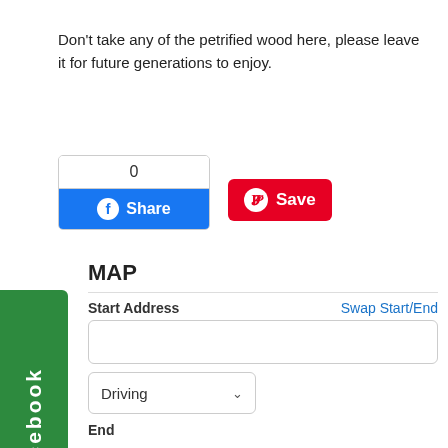Don't take any of the petrified wood here, please leave it for future generations to enjoy.
[Figure (screenshot): Facebook share button with count of 0 and blue Share button, plus a red Pinterest Save button]
MAP
Start Address      Swap Start/End
Driving
End
34.8147919 -109.8616737 United States
Get Directions